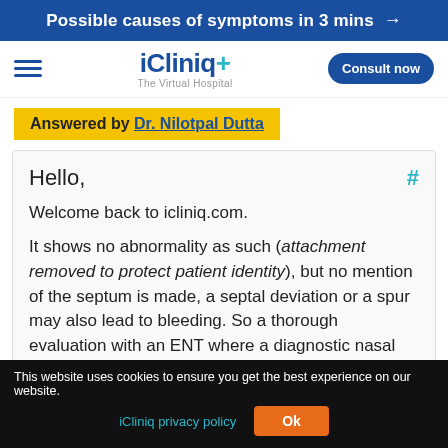Possible causes of symptoms in 3 mins →
[Figure (logo): iCliniq+ The Virtual Hospital logo with hamburger menu and Consult now button]
Answered by Dr. Nilotpal Dutta
Hello, #

Welcome back to icliniq.com.

It shows no abnormality as such (attachment removed to protect patient identity), but no mention of the septum is made, a septal deviation or a spur may also lead to bleeding. So a thorough evaluation with an ENT where a diagnostic nasal endoscopy is done should be carried out.
This website uses cookies to ensure you get the best experience on our website.
iCliniq privacy policy
Ok